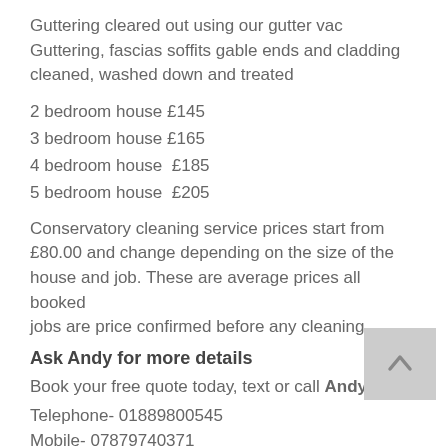Guttering cleared out using our gutter vac
Guttering, fascias soffits gable ends and cladding cleaned, washed down and treated
2 bedroom house £145
3 bedroom house £165
4 bedroom house  £185
5 bedroom house  £205
Conservatory cleaning service prices start from £80.00 and change depending on the size of the house and job. These are average prices all booked jobs are price confirmed before any cleaning.
Ask Andy for more details
Book your free quote today, text or call Andy
Telephone- 01889800545
Mobile- 07879740371